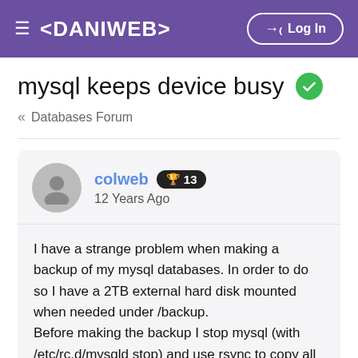≡ <DANIWEB>   → Log In
mysql keeps device busy ✓
« Databases Forum
colweb 🏆 13
12 Years Ago
I have a strange problem when making a backup of my mysql databases. In order to do so I have a 2TB external hard disk mounted when needed under /backup.
Before making the backup I stop mysql (with /etc/rc.d/mysqld stop) and use rsync to copy all the data to the external hard disk.
As soon as the copy is done I start mysql again (/etc/rc.d/mysld start). The whole copy process takes about 30 minutes (all databases are ~60GB).